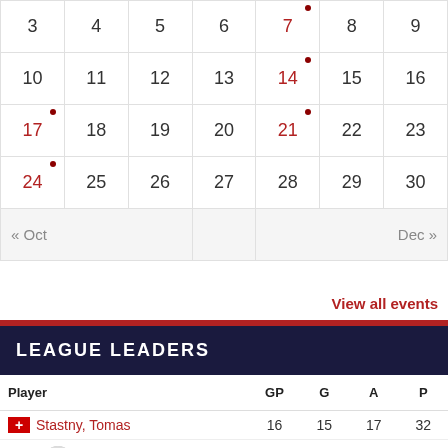| 3 | 4 | 5 | 6 | 7• | 8 | 9 |
| 10 | 11 | 12 | 13 | 14• | 15 | 16 |
| 17• | 18 | 19 | 20 | 21• | 22 | 23 |
| 24• | 25 | 26 | 27 | 28 | 29 | 30 |
| « Oct |  |  |  |  |  | Dec » |
View all events
LEAGUE LEADERS
| Player | GP | G | A | P |
| --- | --- | --- | --- | --- |
| Stastny, Tomas | 16 | 15 | 17 | 32 |
| Freeson, Mike | 16 | 18 | 13 | 31 |